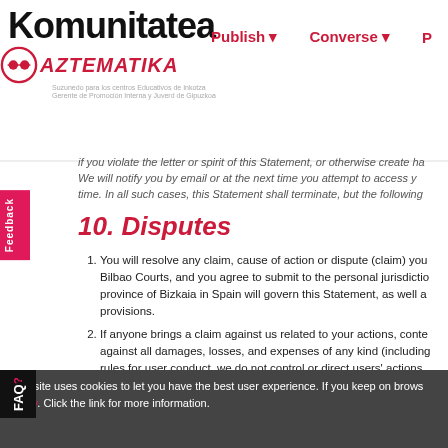Komunitatea AZTEMATIKA — Publish / Converse navigation
if you violate the letter or spirit of this Statement, or otherwise create ha... We will notify you by email or at the next time you attempt to access y... time. In all such cases, this Statement shall terminate, but the following...
10. Disputes
You will resolve any claim, cause of action or dispute (claim) you... Bilbao Courts, and you agree to submit to the personal jurisdictio... province of Bizkaia in Spain will govern this Statement, as well a... provisions.
If anyone brings a claim against us related to your actions, conte... against all damages, losses, and expenses of any kind (including... rules for user conduct, we do not control or direct users' actions... share on KG. We are not responsible for any offensive, inapprop... may encounter on KG. We are not responsible for the conduct, w...
WE TRY TO KEEP KG UP, BUG-FREE, AND SAFE, BUT YOU... EXPRESS OR IMPLIED WARRANTIES INCLUDING, BUT NOT... A PARTICULAR PURPOSE, AND NON-INFRINGEMENT. WE D... FREE OR THAT KG WILL ALWAYS FUNCTION WITHOUT DISP...
This site uses cookies to let you have the best user experience. If you keep on brows... policy. Click the link for more information.